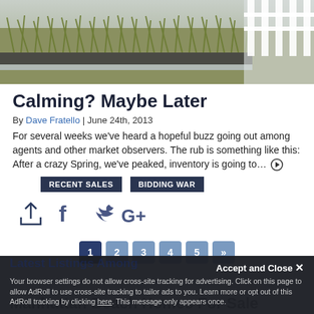[Figure (photo): Hero image showing ornamental grasses in a raised planter bed with a white fence/railing visible on the right side.]
Calming? Maybe Later
By Dave Fratello | June 24th, 2013
For several weeks we've heard a hopeful buzz going out among agents and other market observers. The rub is something like this: After a crazy Spring, we've peaked, inventory is going to…
RECENT SALES
BIDDING WAR
[Figure (other): Social sharing icons: share/export icon, Facebook icon, Twitter bird icon, Google+ icon]
[Figure (other): Pagination buttons: 1 (active, dark blue), 2, 3, 4, 5, » (all lighter blue)]
Latest Listings Among
Manhattan Beach Homes For Sale
Accept and Close ✕
Your browser settings do not allow cross-site tracking for advertising. Click on this page to allow AdRoll to use cross-site tracking to tailor ads to you. Learn more or opt out of this AdRoll tracking by clicking here. This message only appears once.